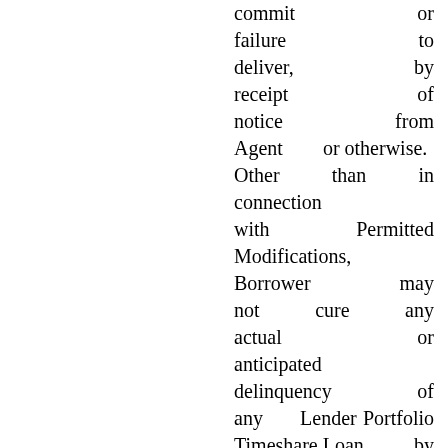commit or failure to deliver, by receipt of notice from Agent or otherwise. Other than in connection with Permitted Modifications, Borrower may not cure any actual or anticipated delinquency of any Lender Portfolio Timeshare Loan by revising, rewriting or recasting the payment terms of such